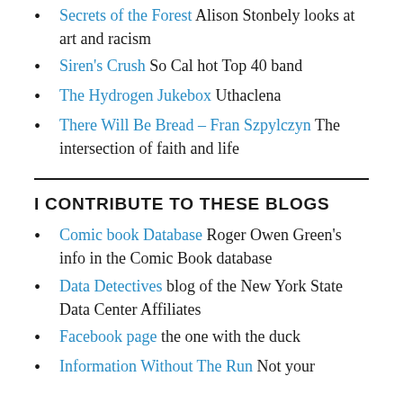Secrets of the Forest Alison Stonbely looks at art and racism
Siren's Crush So Cal hot Top 40 band
The Hydrogen Jukebox Uthaclena
There Will Be Bread – Fran Szpylczyn The intersection of faith and life
I CONTRIBUTE TO THESE BLOGS
Comic book Database Roger Owen Green's info in the Comic Book database
Data Detectives blog of the New York State Data Center Affiliates
Facebook page the one with the duck
Information Without The Run Not your...